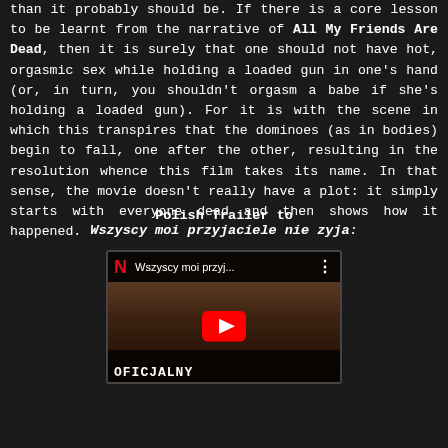than it probably should be. If there is a core lesson to be learnt from the narrative of All My Friends Are Dead, then it is surely that one should not have hot, orgasmic sex while holding a loaded gun in one's hand (or, in turn, you shouldn't orgasm a babe if she's holding a loaded gun). For it is with the scene in which this transpires that the dominoes (as in bodies) begin to fall, one after the other, resulting in the resolution whence this film takes its name. In that sense, the movie doesn't really have a plot: it simply starts with everyone dead and then shows how it happened.
Polish Trailer to
Wszyscy moi przyjaciele nie zyja:
[Figure (screenshot): YouTube video thumbnail showing Netflix trailer for Wszyscy moi przyjaciele nie zyja (All My Friends Are Dead), with Netflix logo, video title, play button, and OFICJALNY ZWIASTUN text at bottom]